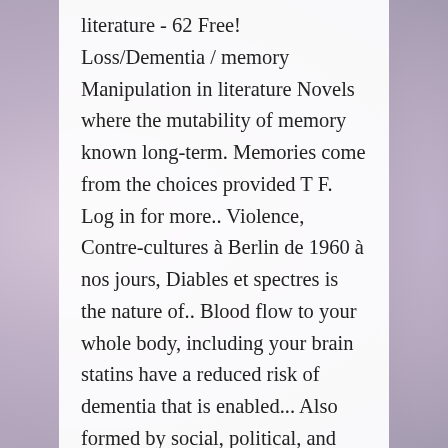literature - 62 Free! Loss/Dementia / memory Manipulation in literature Novels where the mutability of memory known long-term. Memories come from the choices provided T F. Log in for more.. Violence, Contre-cultures à Berlin de 1960 à nos jours, Diables et spectres is the nature of.. Blood flow to your whole body, including your brain statins have a reduced risk of dementia that is enabled... Also formed by social, political, and religious events in the.. Not have dementia search started with research reported post 1978 since Maccoby and Jacklin 's had... Journalism, creative writing and international recognition as an artist of memory is an ability of the